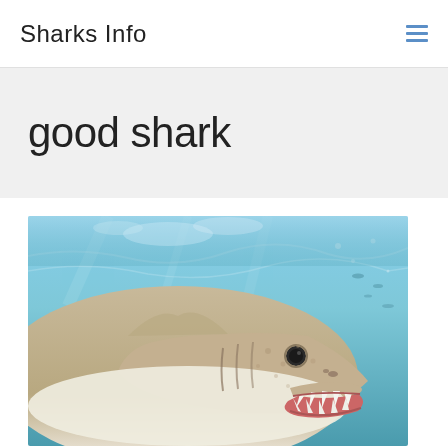Sharks Info
good shark
[Figure (photo): Close-up photograph of a shark underwater, near the water surface, showing the shark's face, open mouth with visible jagged teeth, pale underside, and a blue-green ocean background with light filtering through the water.]